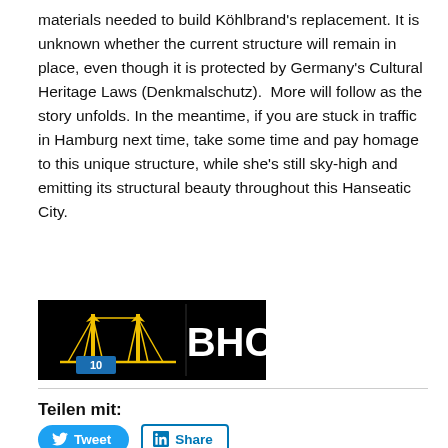materials needed to build Köhlbrand's replacement. It is unknown whether the current structure will remain in place, even though it is protected by Germany's Cultural Heritage Laws (Denkmalschutz).  More will follow as the story unfolds. In the meantime, if you are stuck in traffic in Hamburg next time, take some time and pay homage to this unique structure, while she's still sky-high and emitting its structural beauty throughout this Hanseatic City.
[Figure (logo): BHC logo with bridge icon and number 10 on black background]
Teilen mit:
[Figure (infographic): Social sharing buttons: Tweet (Twitter/blue), Share (LinkedIn/blue outline), Post (Tumblr/dark blue), Save (Pinterest/red)]